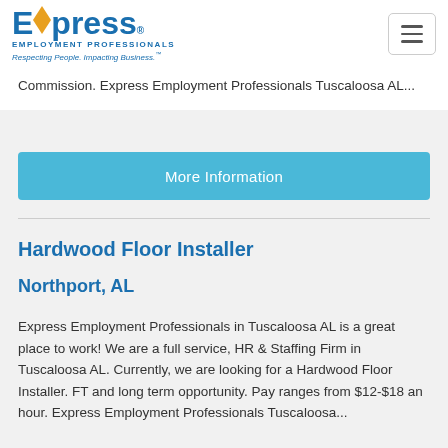Express Employment Professionals — Respecting People. Impacting Business.
Commission. Express Employment Professionals Tuscaloosa AL...
More Information
Hardwood Floor Installer
Northport, AL
Express Employment Professionals in Tuscaloosa AL is a great place to work! We are a full service, HR & Staffing Firm in Tuscaloosa AL. Currently, we are looking for a Hardwood Floor Installer. FT and long term opportunity. Pay ranges from $12-$18 an hour. Express Employment Professionals Tuscaloosa...